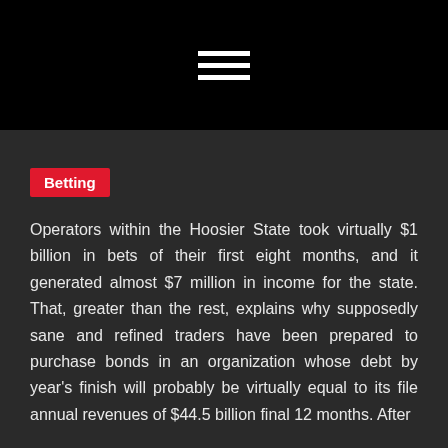Betting
Operators within the Hoosier State took virtually $1 billion in bets of their first eight months, and it generated almost $7 million in income for the state. That, greater than the rest, explains why supposedly sane and refined traders have been prepared to purchase bonds in an organization whose debt by year's finish will probably be virtually equal to its file annual revenues of $44.5 billion final 12 months. After